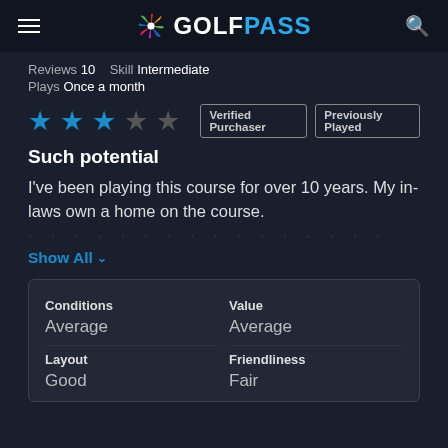GOLFPASS
Reviews 10   Skill Intermediate   Plays Once a month
[Figure (other): 3 filled blue stars and 2 empty stars rating, with badges: Verified Purchaser, Previously Played]
Such potential
I've been playing this course for over 10 years. My in-laws own a home on the course.
Show All
| Conditions | Value |
| --- | --- |
| Average | Average |
| Layout | Friendliness |
| Good | Fair |